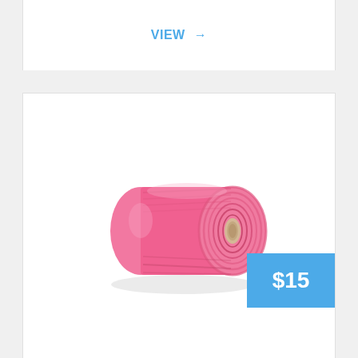VIEW →
[Figure (photo): A spool of bright pink/hot pink paracord rope wound around a cardboard tube, viewed from a slight angle showing the circular coils.]
$15
Paracord